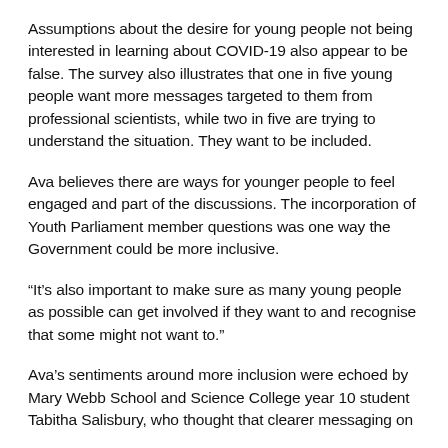Assumptions about the desire for young people not being interested in learning about COVID-19 also appear to be false. The survey also illustrates that one in five young people want more messages targeted to them from professional scientists, while two in five are trying to understand the situation. They want to be included.
Ava believes there are ways for younger people to feel engaged and part of the discussions. The incorporation of Youth Parliament member questions was one way the Government could be more inclusive.
“It’s also important to make sure as many young people as possible can get involved if they want to and recognise that some might not want to.”
Ava’s sentiments around more inclusion were echoed by Mary Webb School and Science College year 10 student Tabitha Salisbury, who thought that clearer messaging on